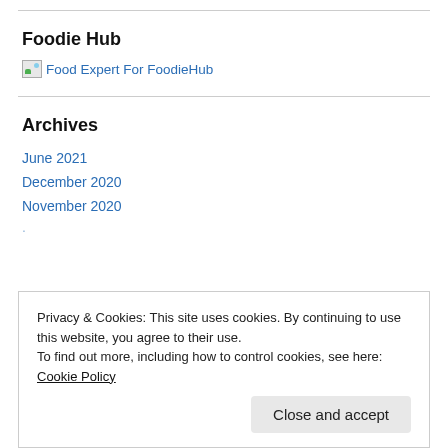Foodie Hub
[Figure (illustration): Broken image icon with alt text 'Food Expert For FoodieHub', displayed as a blue link]
Archives
June 2021
December 2020
November 2020
Privacy & Cookies: This site uses cookies. By continuing to use this website, you agree to their use. To find out more, including how to control cookies, see here: Cookie Policy
Close and accept
April 2017